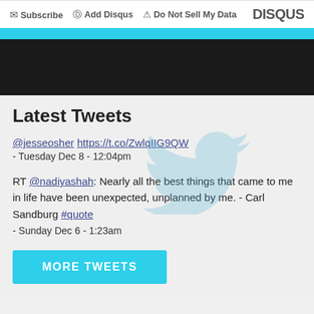Subscribe  Add Disqus  Do Not Sell My Data  DISQUS
[Figure (other): Cyan bar and black bar decorative header bands]
Latest Tweets
@jesseosher https://t.co/ZwlqIIG9QW - Tuesday Dec 8 - 12:04pm
RT @nadiyashah: Nearly all the best things that came to me in life have been unexpected, unplanned by me. - Carl Sandburg #quote - Sunday Dec 6 - 1:23am
MORE TWEETS